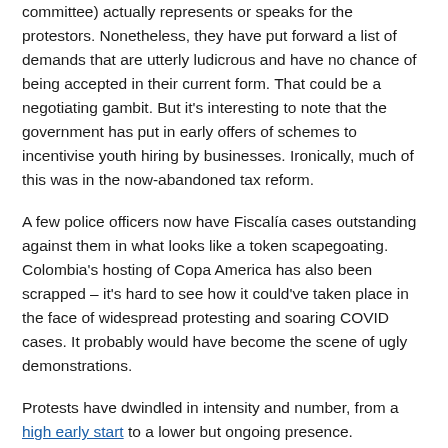committee) actually represents or speaks for the protestors. Nonetheless, they have put forward a list of demands that are utterly ludicrous and have no chance of being accepted in their current form. That could be a negotiating gambit. But it's interesting to note that the government has put in early offers of schemes to incentivise youth hiring by businesses. Ironically, much of this was in the now-abandoned tax reform.
A few police officers now have Fiscalía cases outstanding against them in what looks like a token scapegoating. Colombia's hosting of Copa America has also been scrapped – it's hard to see how it could've taken place in the face of widespread protesting and soaring COVID cases. It probably would have become the scene of ugly demonstrations.
Protests have dwindled in intensity and number, from a high early start to a lower but ongoing presence. TransMilenio stations have taken a fair deal of damage and there has been